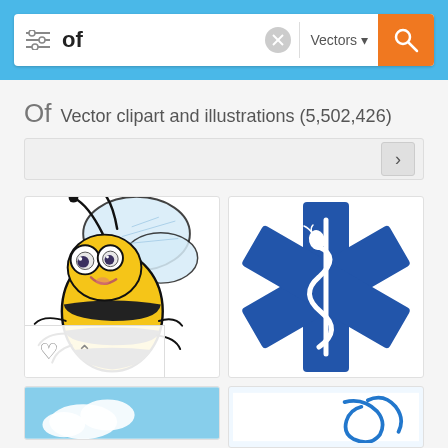[Figure (screenshot): Search bar with sliders icon on left, bold text 'of', grey X clear button, 'Vectors' dropdown, orange search button with magnifying glass icon, all on a blue background header bar]
Of Vector clipart and illustrations (5,502,426)
[Figure (screenshot): Navigation bar with a right arrow button on a light grey background]
[Figure (illustration): Cartoon bee vector illustration - a cute smiling yellow and black striped bee with large eyes, translucent blue wings, and small legs on white background]
[Figure (illustration): Star of Life medical symbol - blue six-pointed star with white Rod of Asclepius (snake wrapped around staff) in the center, on white background]
[Figure (illustration): Partial bottom-left thumbnail showing blue sky with clouds]
[Figure (illustration): Partial bottom-right thumbnail showing a partial blue cursive/artistic element on white background]